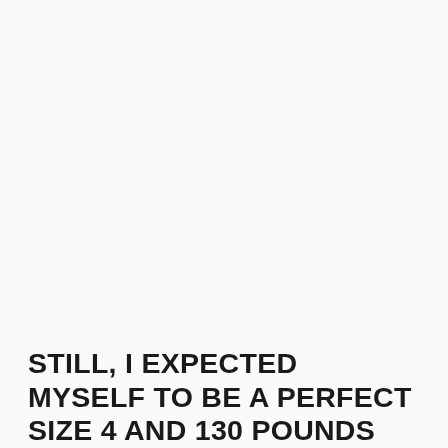STILL, I EXPECTED MYSELF TO BE A PERFECT SIZE 4 AND 130 POUNDS